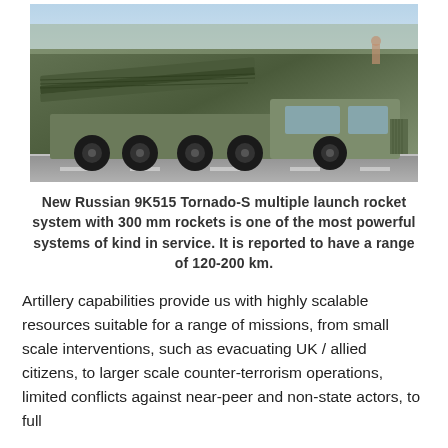[Figure (photo): Photo of a Russian 9K515 Tornado-S multiple launch rocket system mounted on a large military truck, driving on a road, likely during a military parade.]
New Russian 9K515 Tornado-S multiple launch rocket system with 300 mm rockets is one of the most powerful systems of kind in service. It is reported to have a range of 120-200 km.
Artillery capabilities provide us with highly scalable resources suitable for a range of missions, from small scale interventions, such as evacuating UK / allied citizens, to larger scale counter-terrorism operations, limited conflicts against near-peer and non-state actors, to full